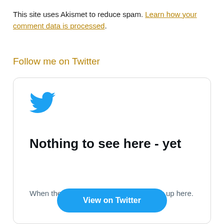This site uses Akismet to reduce spam. Learn how your comment data is processed.
Follow me on Twitter
[Figure (screenshot): Twitter widget showing a bird logo, heading 'Nothing to see here - yet', subtext 'When they Tweet, their Tweets will show up here.', and a 'View on Twitter' button.]